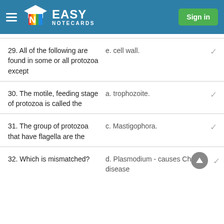Easy Notecards — Sign in
29. All of the following are found in some or all protozoa except | e. cell wall.
30. The motile, feeding stage of protozoa is called the | a. trophozoite.
31. The group of protozoa that have flagella are the | c. Mastigophora.
32. Which is mismatched? | d. Plasmodium - causes Chagas disease